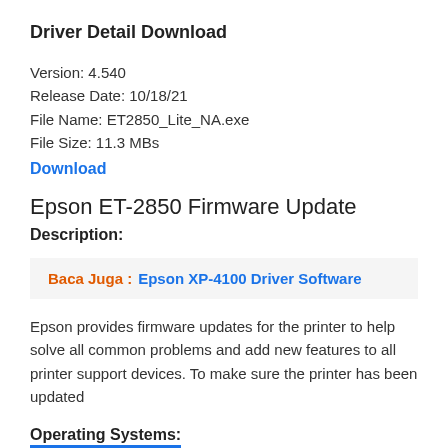Driver Detail Download
Version: 4.540
Release Date: 10/18/21
File Name: ET2850_Lite_NA.exe
File Size: 11.3 MBs
Download
Epson ET-2850 Firmware Update
Description:
Baca Juga :   Epson XP-4100 Driver Software
Epson provides firmware updates for the printer to help solve all common problems and add new features to all printer support devices. To make sure the printer has been updated
Operating Systems: